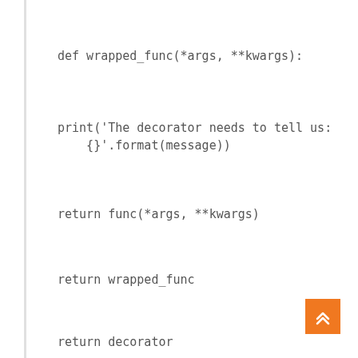def wrapped_func(*args, **kwargs):
print('The decorator needs to tell us: {}'.format(message))
return func(*args, **kwargs)
return wrapped_func
return decorator